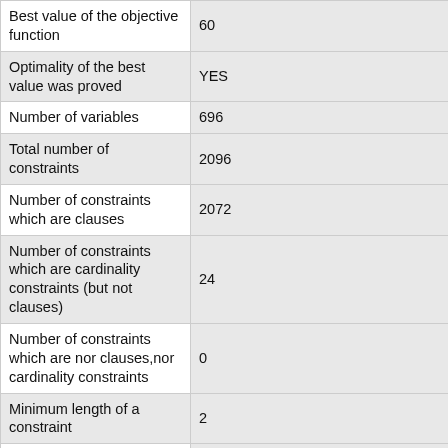| Property | Value |
| --- | --- |
| Best value of the objective function | 60 |
| Optimality of the best value was proved | YES |
| Number of variables | 696 |
| Total number of constraints | 2096 |
| Number of constraints which are clauses | 2072 |
| Number of constraints which are cardinality constraints (but not clauses) | 24 |
| Number of constraints which are nor clauses,nor cardinality constraints | 0 |
| Minimum length of a constraint | 2 |
| Maximum length of a constraint | 29 |
| Number of terms in the objective function | 696 |
| Biggest coefficient in the objective function | 1 |
| Number of bits for the biggest coefficient in the objective function | 1 |
| Sum of the numbers in the | 696 |